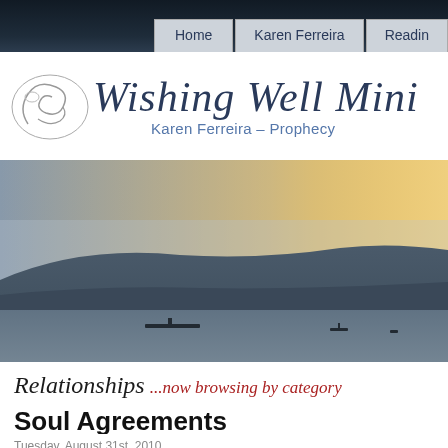Home  Karen Ferreira  Readin...
[Figure (logo): Wishing Well Ministry logo with decorative swirl and script text 'Wishing Well Mini...' and subtitle 'Karen Ferreira - Prophecy']
[Figure (photo): Landscape photo of a lake or sea at sunset with hills/mountains in the background and small silhouettes of boats on the water]
Relationships ...now browsing by category
Soul Agreements
Tuesday, August 31st, 2010